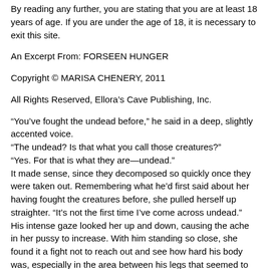By reading any further, you are stating that you are at least 18 years of age. If you are under the age of 18, it is necessary to exit this site.
An Excerpt From: FORSEEN HUNGER
Copyright © MARISA CHENERY, 2011
All Rights Reserved, Ellora's Cave Publishing, Inc.
“You’ve fought the undead before,” he said in a deep, slightly accented voice.
“The undead? Is that what you call those creatures?”
“Yes. For that is what they are—undead.”
It made sense, since they decomposed so quickly once they were taken out. Remembering what he’d first said about her having fought the creatures before, she pulled herself up straighter. “It’s not the first time I’ve come across undead.”
His intense gaze looked her up and down, causing the ache in her pussy to increase. With him standing so close, she found it a fight not to reach out and see how hard his body was, especially in the area between his legs that seemed to be sporting an interesting bulge.